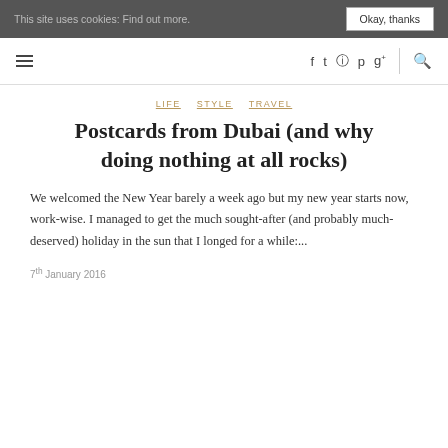This site uses cookies: Find out more. Okay, thanks
navigation bar with hamburger menu, social icons, and search
LIFE  STYLE  TRAVEL
Postcards from Dubai (and why doing nothing at all rocks)
We welcomed the New Year barely a week ago but my new year starts now, work-wise. I managed to get the much sought-after (and probably much-deserved) holiday in the sun that I longed for a while:...
7th January 2016